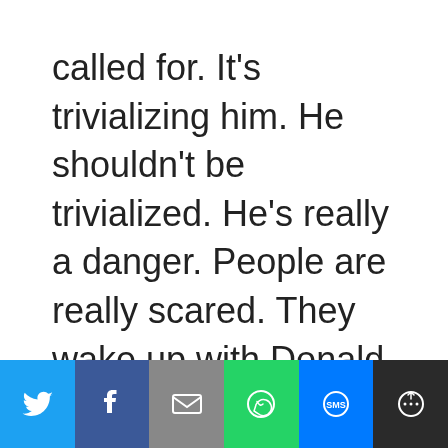called for. It's trivializing him. He shouldn't be trivialized. He's really a danger. People are really scared. They wake up with Donald Trump on their mind and they go to bed with him on their mind. He's a heavy presence in our lives now. I don't know how to deal
[Figure (other): Social sharing toolbar with buttons for Twitter, Facebook, Email, WhatsApp, SMS, and More]